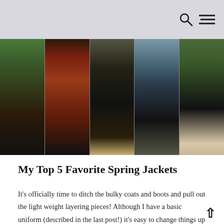search and menu icons
[Figure (photo): A collage of 5 fashion photos showing women wearing different spring jackets: green cardigan, red floral bomber, black leather jacket, denim jacket with sequins, and camouflage jacket, all paired with black pants.]
My Top 5 Favorite Spring Jackets
It's officially time to ditch the bulky coats and boots and pull out the light weight layering pieces! Although I have a basic uniform (described in the last post!) it's easy to change things up every day with a cool Spring jacket. If you've read my blog